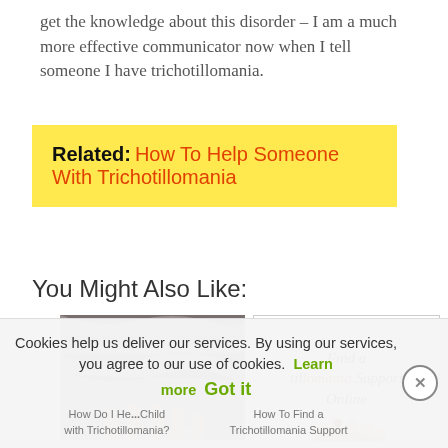get the knowledge about this disorder – I am a much more effective communicator now when I tell someone I have trichotillomania.
Related: How To Help Someone With Trichotillomania
You Might Also Like:
[Figure (photo): Person touching their hair, photo thumbnail]
[Figure (infographic): Card with text: Find a tillomania Support Online, with hand illustration]
Cookies help us deliver our services. By using our services, you agree to our use of cookies. Learn more  Got it